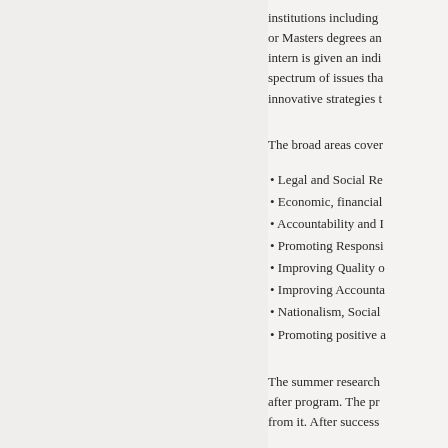institutions including or Masters degrees an intern is given an indi spectrum of issues tha innovative strategies t
The broad areas cover
• Legal and Social Re
• Economic, financial
• Accountability and I
• Promoting Responsi
• Improving Quality o
• Improving Accounta
• Nationalism, Social
• Promoting positive a
The summer research after program. The pr from it. After success